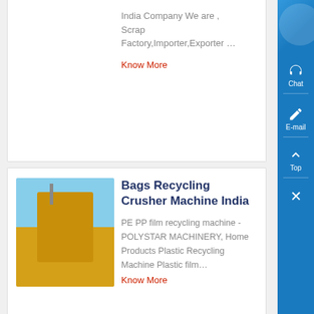India Company We are , Scrap Factory,Importer,Exporter …
Know More
[Figure (photo): Yellow heavy machinery / industrial crushing equipment against blue sky]
Bags Recycling Crusher Machine India
PE PP film recycling machine - POLYSTAR MACHINERY, Home Products Plastic Recycling Machine Plastic film…
Know More
[Figure (photo): Industrial recycling/crushing equipment outdoors against blue sky]
plastic waste pp film woven bag recycling crushing ,